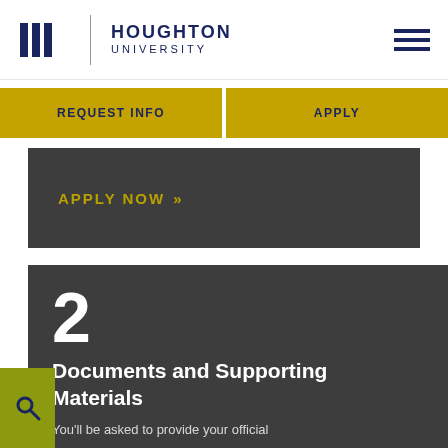Houghton University
REQUEST INFO
APPLY
APPLY NOW >>
2
Documents and Supporting Materials
You'll be asked to provide your official